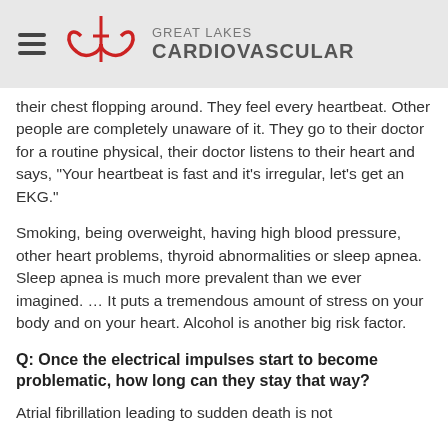[Figure (logo): Great Lakes Cardiovascular logo with red heart/loop icon and gray text]
their chest flopping around. They feel every heartbeat. Other people are completely unaware of it. They go to their doctor for a routine physical, their doctor listens to their heart and says, "Your heartbeat is fast and it's irregular, let's get an EKG."
Smoking, being overweight, having high blood pressure, other heart problems, thyroid abnormalities or sleep apnea. Sleep apnea is much more prevalent than we ever imagined. … It puts a tremendous amount of stress on your body and on your heart. Alcohol is another big risk factor.
Q: Once the electrical impulses start to become problematic, how long can they stay that way?
Atrial fibrillation leading to sudden death is not